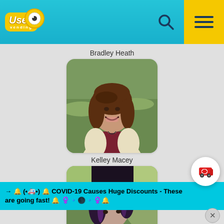Used Vending [logo header with search and menu icons]
Bradley Heath
[Figure (photo): Profile photo of a smiling woman with brown wavy hair wearing a cream cardigan over a dark red top, outdoors with green grass in background. Rounded rectangle frame.]
Kelley Macey
[Figure (photo): Partial profile photo of a woman with dark hair streaked purple/dark, outdoors with blurred green foliage background. Rounded rectangle frame, partially cut off.]
→ 🔔 (•🚑•) 🔔 COVID-19 Causes Huge Discounts - These are going fast! 🔔 ♀️🔹🌑️🔹♀️🔔